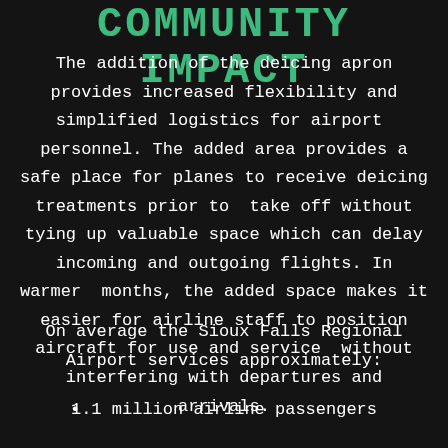COMMUNITY IMPACT
The addition of the deicing apron provides increased flexibility and simplified logistics for airport personnel. The added area provides a safe place for planes to receive deicing treatments prior to take off without tying up valuable space which can delay incoming and outgoing flights. In warmer months, the added space makes it easier for airline staff to position aircraft for use and service without interfering with departures and arrivals.
On average the Sioux Falls Regional Airport services approximately:
1.1 million airline passengers